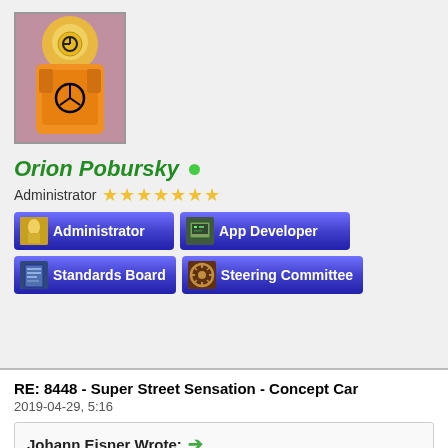[Figure (photo): Avatar photo of user Orion Pobursky - Lego hazmat figure in orange suit with nuclear symbol]
Orion Pobursky (online indicator dot)
Administrator ★★★★★★★
[Figure (infographic): Role badges: Administrator, App Developer, Standards Board, Steering Committee]
RE: 8448 - Super Street Sensation - Concept Car
2019-04-29, 5:16
Johann Eisner Wrote: → Thx. Main Model is in the OMR. --> http://omr.ldraw.org/file/2
Hobb off the Comment and Bossol of the l